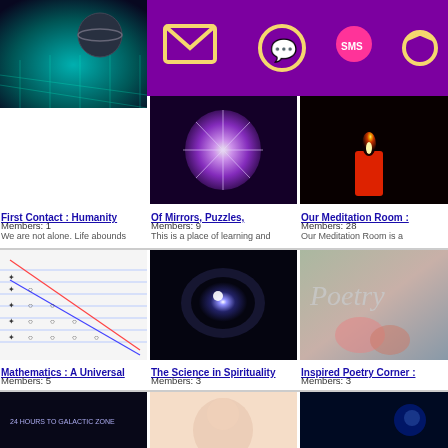[Figure (screenshot): Purple toolbar with social sharing icons: Twitter, Facebook, Email, WhatsApp, SMS, and another icon]
[Figure (photo): Sci-fi space/grid image for First Contact: Humanity group]
First Contact : Humanity
Members: 1
We are not alone. Life abounds
[Figure (photo): Purple crystal star burst image for Of Mirrors, Puzzles group]
Of Mirrors, Puzzles,
Members: 9
This is a place of learning and
[Figure (photo): Red candle with flame on dark background for Our Meditation Room group]
Our Meditation Room :
Members: 28
Our Meditation Room is a
[Figure (photo): Mathematical diagram with symbols and lines for Mathematics: A Universal group]
Mathematics : A Universal
Members: 5
[Figure (photo): Black oval orb with blue glow for The Science in Spirituality group]
The Science in Spirituality
Members: 3
[Figure (photo): Poetry text with roses background for Inspired Poetry Corner group]
Inspired Poetry Corner :
Members: 3
[Figure (photo): Dark space image with galactic text (bottom row, partially visible)]
[Figure (photo): Light peachy illustration face (bottom row, partially visible)]
[Figure (photo): Dark blue space image (bottom row, partially visible)]